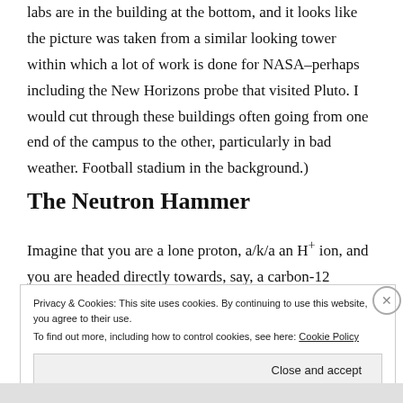labs are in the building at the bottom, and it looks like the picture was taken from a similar looking tower within which a lot of work is done for NASA–perhaps including the New Horizons probe that visited Pluto. I would cut through these buildings often going from one end of the campus to the other, particularly in bad weather. Football stadium in the background.)
The Neutron Hammer
Imagine that you are a lone proton, a/k/a an H⁺ ion, and you are headed directly towards, say, a carbon-12
Privacy & Cookies: This site uses cookies. By continuing to use this website, you agree to their use.
To find out more, including how to control cookies, see here: Cookie Policy